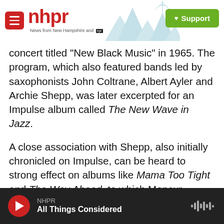nhpr — News from New Hampshire and NPR | Support
concert titled "New Black Music" in 1965. The program, which also featured bands led by saxophonists John Coltrane, Albert Ayler and Archie Shepp, was later excerpted for an Impulse album called The New Wave in Jazz.
A close association with Shepp, also initially chronicled on Impulse, can be heard to strong effect on albums like Mama Too Tight and The Way Ahead, to which Moncur contributed original material. He was also among the cadre of musicians who appeared with Shepp at the first Pan-African Cultural Festival in Algeria, in 1969.
NHPR — All Things Considered